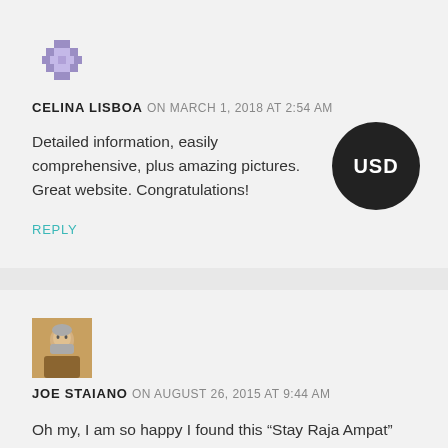[Figure (illustration): Abstract pixel/geometric avatar icon in purple/lavender color]
CELINA LISBOA ON MARCH 1, 2018 AT 2:54 AM
Detailed information, easily comprehensive, plus amazing pictures. Great website. Congratulations!
REPLY
[Figure (photo): Photo of Joe Staiano, an older man with grey hair and beard, wearing a brown jacket]
JOE STAIANO ON AUGUST 26, 2015 AT 9:44 AM
Oh my, I am so happy I found this “Stay Raja Ampat” website. Thank you for being so helpful. I work in adventure / ecotourism and have been blessed to visit 80 countries around the world. I am so happy and